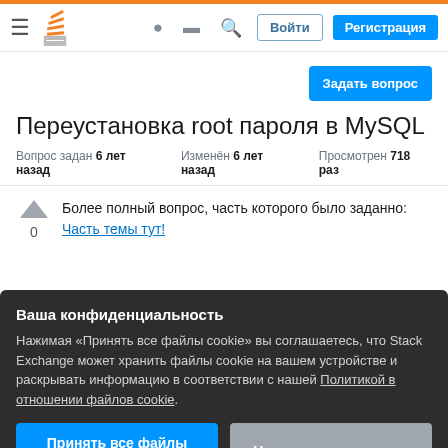Stack Overflow navigation bar with login and register buttons
Задать вопрос
Переустановка root пароля в MySQL
Вопрос задан 6 лет назад   Изменён 6 лет назад   Просмотрен 718 раз
Более полный вопрос, часть которого было заданно: Часть темы тут!
Ваша конфиденциальность
Нажимая «Принять все файлы cookie» вы соглашаетесь, что Stack Exchange может хранить файлы cookie на вашем устройстве и раскрывать информацию в соответствии с нашей Политикой в отношении файлов cookie.
Принять все файлы cookie   Настроить параметры